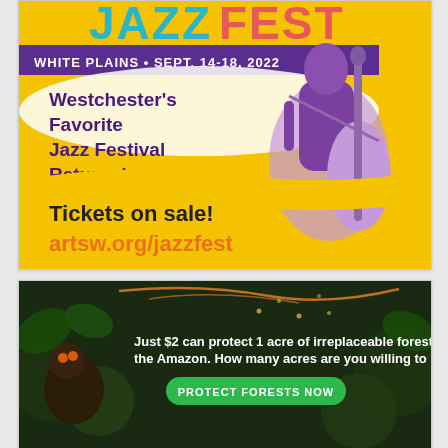[Figure (illustration): JazzFest White Plains advertisement. Yellow background with purple text. Top: 'JAZZFEST' logo. 'WHITE PLAINS • SEPT. 14-18, 2022' in white on purple banner. 'Westchester's Favorite Jazz Festival Returns!' in purple text. Illustration of a musician playing double bass in purple tones. Bottom: 'Tickets on sale!' in black, 'artsw.org/jazzfest' in orange.]
[Figure (illustration): Amazon rainforest charity advertisement. Dark background with forest/animal imagery. Text: 'Just $2 can protect 1 acre of irreplaceable forest homes in the Amazon. How many acres are you willing to protect?' Green button: 'PROTECT FORESTS NOW']